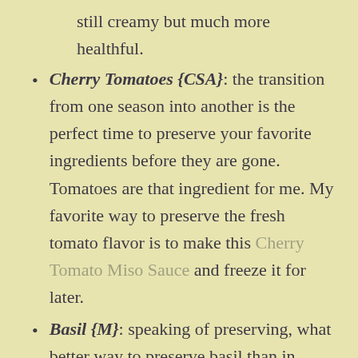still creamy but much more healthful.
Cherry Tomatoes {CSA}: the transition from one season into another is the perfect time to preserve your favorite ingredients before they are gone. Tomatoes are that ingredient for me. My favorite way to preserve the fresh tomato flavor is to make this Cherry Tomato Miso Sauce and freeze it for later.
Basil {M}: speaking of preserving, what better way to preserve basil than in pesto? Traditional pesto can